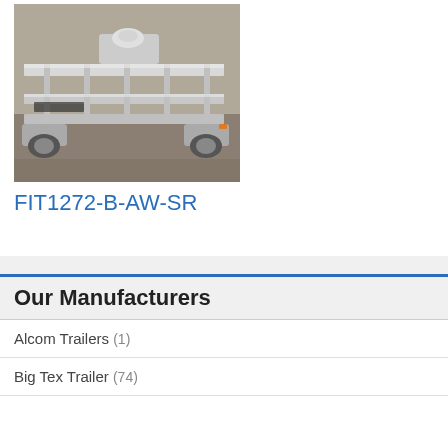[Figure (photo): Photo of an aluminum trailer, showing the frame, wheels, and hitch area from an exterior angle on gravel ground.]
FIT1272-B-AW-SR
Our Manufacturers
Alcom Trailers (1)
Big Tex Trailer (74)